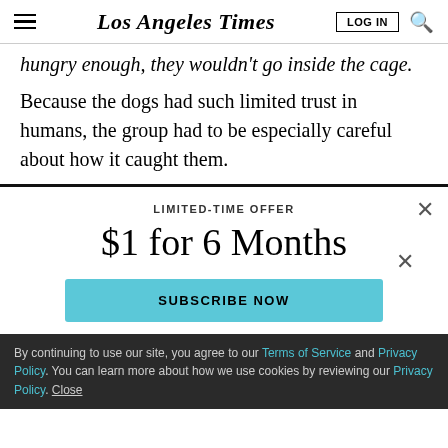Los Angeles Times
hungry enough, they wouldn't go inside the cage.
Because the dogs had such limited trust in humans, the group had to be especially careful about how it caught them.
LIMITED-TIME OFFER
$1 for 6 Months
SUBSCRIBE NOW
By continuing to use our site, you agree to our Terms of Service and Privacy Policy. You can learn more about how we use cookies by reviewing our Privacy Policy. Close